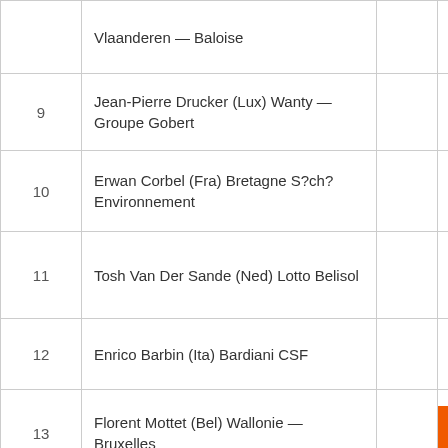| # | Rider |  |  |
| --- | --- | --- | --- |
|  | Vlaanderen — Baloise |  |  |
| 9 | Jean-Pierre Drucker (Lux) Wanty — Groupe Gobert |  |  |
| 10 | Erwan Corbel (Fra) Bretagne S?ch? Environnement |  |  |
| 11 | Tosh Van Der Sande (Ned) Lotto Belisol |  |  |
| 12 | Enrico Barbin (Ita) Bardiani CSF |  |  |
| 13 | Florent Mottet (Bel) Wallonie — Bruxelles |  | ↑ |
| 14 | Yves Lampaert (Bel) Topsport Vlaanderen — Baloise |  |  |
| 15 | Timothy Dupont (Bel) Roubaix Lille Métropole |  |  |